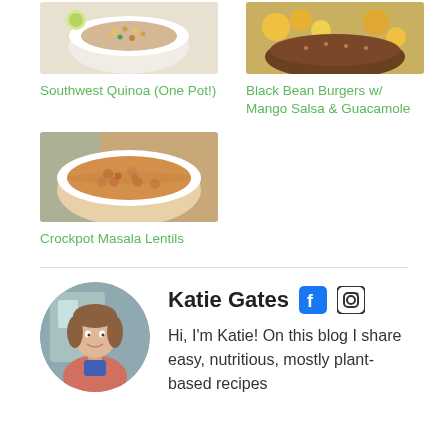[Figure (photo): Photo of Southwest Quinoa dish in a white bowl]
[Figure (photo): Photo of Black Bean Burgers with Mango Salsa and Guacamole]
Southwest Quinoa (One Pot!)
Black Bean Burgers w/ Mango Salsa & Guacamole
[Figure (photo): Photo of Crockpot Masala Lentils in a white bowl]
Crockpot Masala Lentils
[Figure (photo): Circular portrait photo of Katie Gates holding a blue object, wearing a pink sweater]
Katie Gates
Hi, I'm Katie! On this blog I share easy, nutritious, mostly plant-based recipes